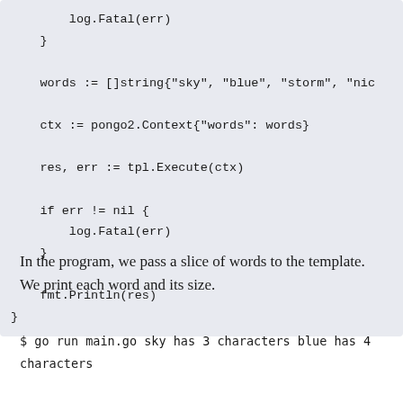log.Fatal(err)
    }

    words := []string{"sky", "blue", "storm", "nic

    ctx := pongo2.Context{"words": words}

    res, err := tpl.Execute(ctx)

    if err != nil {
        log.Fatal(err)
    }

    fmt.Println(res)
}
In the program, we pass a slice of words to the template. We print each word and its size.
$ go run main.go
sky has 3 characters
blue has 4 characters